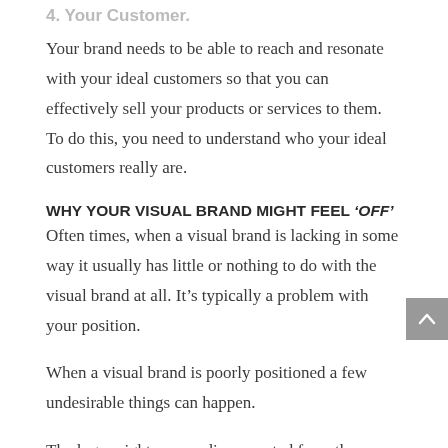4. Your Customer.
Your brand needs to be able to reach and resonate with your ideal customers so that you can effectively sell your products or services to them. To do this, you need to understand who your ideal customers really are.
WHY YOUR VISUAL BRAND MIGHT FEEL ‘OFF’
Often times, when a visual brand is lacking in some way it usually has little or nothing to do with the visual brand at all. It’s typically a problem with your position.
When a visual brand is poorly positioned a few undesirable things can happen.
The logo might appear disconnected from the